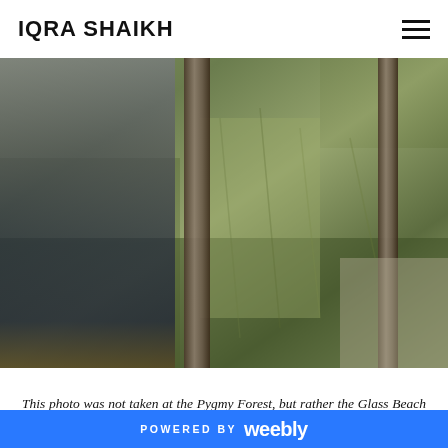IQRA SHAIKH
[Figure (photo): A person in dark jeans and brown shoes leaning against wooden posts surrounded by tall grass, taken at Glass Beach in Fort Braggs.]
This photo was not taken at the Pygmy Forest, but rather the Glass Beach in Fort Braggs. It is representative of the choices we have in life.
POWERED BY weebly